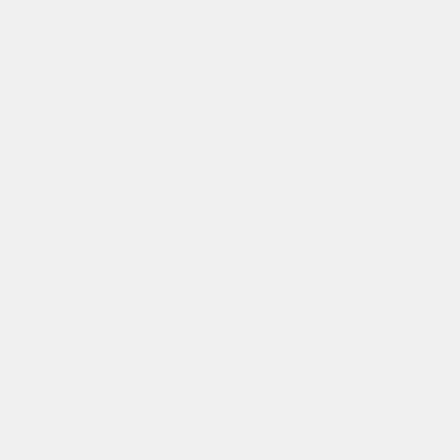history and implications of each discourse discussed. In a second study a participant observation strategy explored how the Manawatu Men Against Violence collective (MMAV), in the face of this diverse and conflicting field, work to stop men's violence in the community. Through participating in MMAV 'Stopping Violence' programme observations concerning the discursive content and structure to the programme were made. It was found through this exercise that MMAV employed four of the five discourses identified in the scientific literature and omitted one; 'pathology'. This was a strategic move on MMAV's part, enabling a variety of intervention strategies, dominated by a Liberal humanist construction of events around which the remaining discourses were couched. The implications of this discursive structure to the programme are discussed. A third study explored how the MMAV programme impacts upon participant's subjectivity. Semi-structured interviews